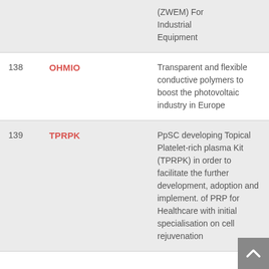| # | Name | Description |
| --- | --- | --- |
|  |  | (ZWEM) For Industrial Equipment |
| 138 | OHMIO | Transparent and flexible conductive polymers to boost the photovoltaic industry in Europe |
| 139 | TPRPK | PpSC developing Topical Platelet-rich plasma Kit (TPRPK) in order to facilitate the further development, adoption and implement. of PRP for Healthcare with initial specialisation on cell rejuvenation |